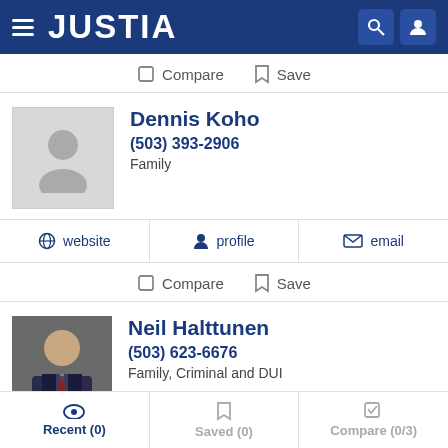JUSTIA
Compare  Save
Dennis Koho
(503) 393-2906
Family
website  profile  email
Compare  Save
Neil Halttunen
(503) 623-6676
Family, Criminal and DUI
Recent (0)  Saved (0)  Compare (0/3)